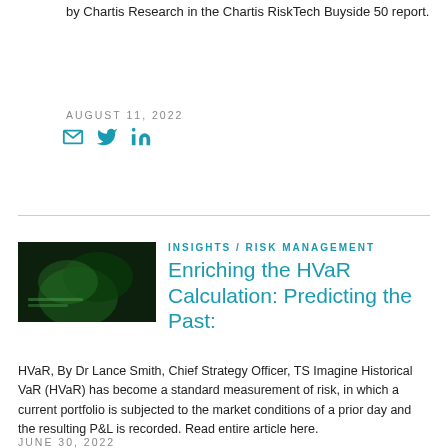by Chartis Research in the Chartis RiskTech Buyside 50 report.
AUGUST 11, 2022
[Figure (infographic): Social sharing icons: email envelope, Twitter bird, LinkedIn logo in teal/blue color]
INSIGHTS / RISK MANAGEMENT
Enriching the HVaR Calculation: Predicting the Past:
[Figure (photo): Dark green abstract thumbnail image with text overlay]
HVaR, By Dr Lance Smith, Chief Strategy Officer, TS Imagine Historical VaR (HVaR) has become a standard measurement of risk, in which a current portfolio is subjected to the market conditions of a prior day and the resulting P&L is recorded. Read entire article here.
JUNE 30, 2022